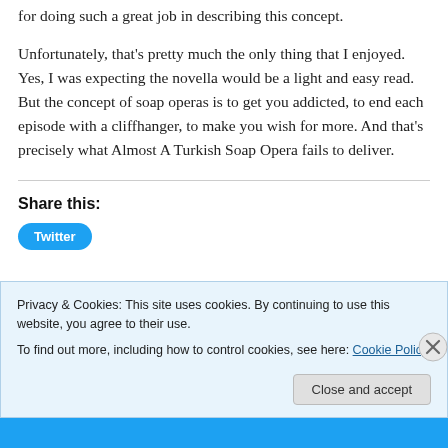for doing such a great job in describing this concept.
Unfortunately, that's pretty much the only thing that I enjoyed. Yes, I was expecting the novella would be a light and easy read. But the concept of soap operas is to get you addicted, to end each episode with a cliffhanger, to make you wish for more. And that's precisely what Almost A Turkish Soap Opera fails to deliver.
Share this:
Privacy & Cookies: This site uses cookies. By continuing to use this website, you agree to their use.
To find out more, including how to control cookies, see here: Cookie Policy
Close and accept